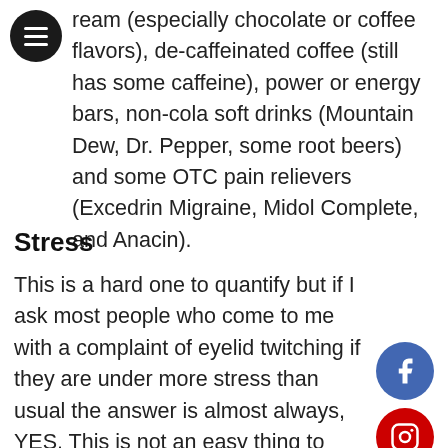ream (especially chocolate or coffee flavors), decaffeinated coffee (still has some caffeine), power or energy bars, non-cola soft drinks (Mountain Dew, Dr. Pepper, some root beers) and some OTC pain relievers (Excedrin Migraine, Midol Complete, and Anacin).
Stress
This is a hard one to quantify but if I ask most people who come to me with a complaint of eyelid twitching if they are under more stress than usual the answer is almost always, YES. This is not an easy thing to mitigate. You may need to seek some help from your internist or psychiatrist or you could just try some home remedies like meditation or Yoga.